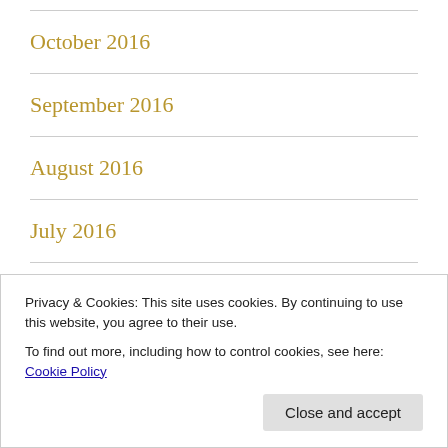October 2016
September 2016
August 2016
July 2016
June 2016
Privacy & Cookies: This site uses cookies. By continuing to use this website, you agree to their use.
To find out more, including how to control cookies, see here: Cookie Policy
March 2016